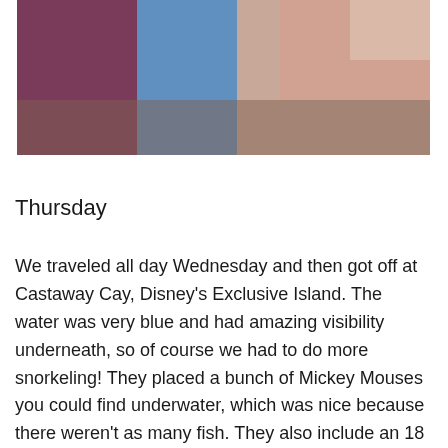[Figure (photo): Partial photo showing people in colorful clothing, cropped at the top of the page]
Thursday
We traveled all day Wednesday and then got off at Castaway Cay, Disney's Exclusive Island. The water was very blue and had amazing visibility underneath, so of course we had to do more snorkeling! They placed a bunch of Mickey Mouses you could find underwater, which was nice because there weren't as many fish. They also include an 18 and older beach which we took advantage of while Korbin and Brooke played games